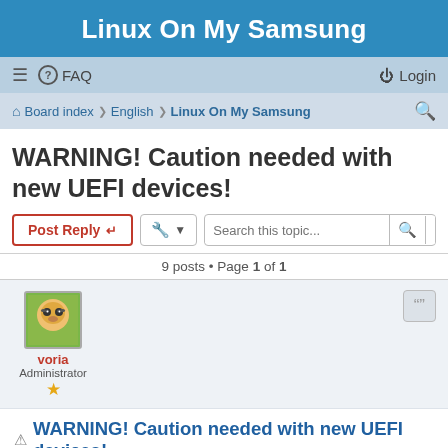Linux On My Samsung
≡  FAQ   Login
Board index · English · Linux On My Samsung
WARNING! Caution needed with new UEFI devices!
Post Reply  [tools]  Search this topic...
9 posts • Page 1 of 1
voria
Administrator
WARNING! Caution needed with new UEFI devices!
30 Jan 2013, 16:01
I've been informed that the latest devices from Samsung using UEFI mode can be permanently bricked if Ubuntu, and probably other distros too, is installed without taking some precautions.
Here is a transcription of the email I've received from an user (thank you!):